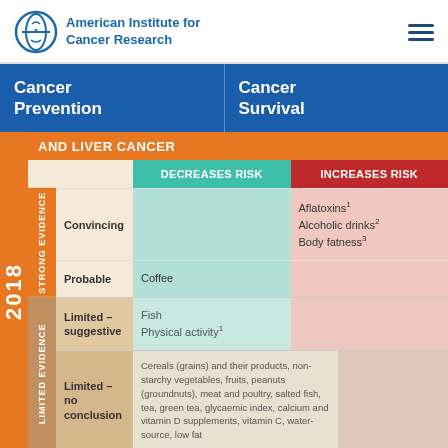American Institute for Cancer Research
Cancer Prevention | Cancer Survival
AND LIVER CANCER
| Evidence Level | Sub-level | Decreases Risk | Increases Risk |
| --- | --- | --- | --- |
| STRONG EVIDENCE | Convincing |  | Aflatoxins¹ Alcoholic drinks² Body fatness³ |
| STRONG EVIDENCE | Probable | Coffee |  |
| LIMITED EVIDENCE | Limited – suggestive | Fish Physical activity¹ |  |
| LIMITED EVIDENCE | Limited – no conclusion | Cereals (grains) and their products, non-starchy vegetables, fruits, peanuts (groundnuts), meat and poultry, salted fish, tea, green tea, glycaemic index, calcium and vitamin D supplements, vitamin C, water-source, low fat |  |
JULY 27, 2018  |  3 minute read